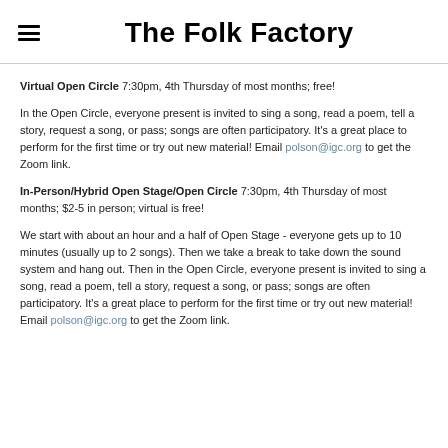The Folk Factory
Virtual Open Circle 7:30pm, 4th Thursday of most months; free!
In the Open Circle, everyone present is invited to sing a song, read a poem, tell a story, request a song, or pass; songs are often participatory. It's a great place to perform for the first time or try out new material!  Email polson@igc.org to get the Zoom link.
In-Person/Hybrid Open Stage/Open Circle 7:30pm, 4th Thursday of most months; $2-5 in person; virtual is free!
We start with about an hour and a half of Open Stage - everyone gets up to 10 minutes (usually up to 2 songs).  Then we take a break to take down the sound system and hang out.  Then in the Open Circle, everyone present is invited to sing a song, read a poem, tell a story, request a song, or pass; songs are often participatory. It's a great place to perform for the first time or try out new material!  Email polson@igc.org to get the Zoom link.